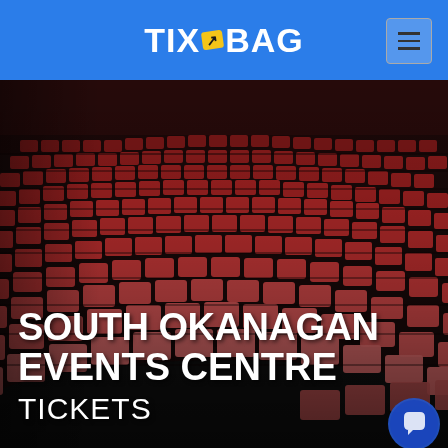TIXBAG
[Figure (photo): Interior of a theater/arena showing curved rows of red/crimson upholstered seats arranged in a semicircular pattern, viewed from a low angle. The seating bowl is empty and the image has a dark, dramatic lighting.]
SOUTH OKANAGAN EVENTS CENTRE TICKETS